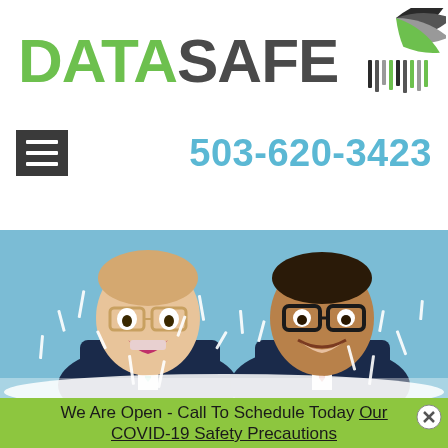[Figure (logo): DataSafe logo with green DATA text, dark gray SAFE text, and a shredded paper fan icon in green, gray, and black]
503-620-3423
[Figure (photo): Two smiling boys wearing suits and glasses, covered in shredded paper, against a teal/blue background]
We Are Open - Call To Schedule Today Our COVID-19 Safety Precautions